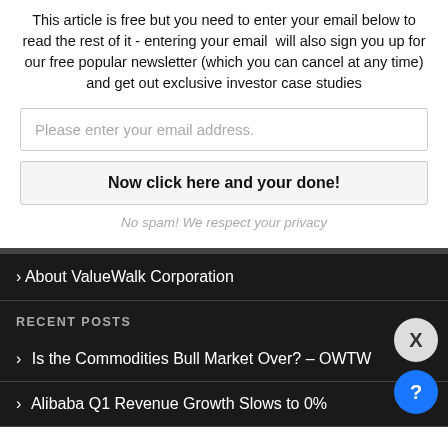This article is free but you need to enter your email below to read the rest of it - entering your email will also sign you up for our free popular newsletter (which you can cancel at any time) and get out exclusive investor case studies
Please enter your email address.
Now click here and your done!
No spam! We respect your privacy
About ValueWalk Corporation
RECENT POSTS
Is the Commodities Bull Market Over? – OWTW
Alibaba Q1 Revenue Growth Slows to 0%